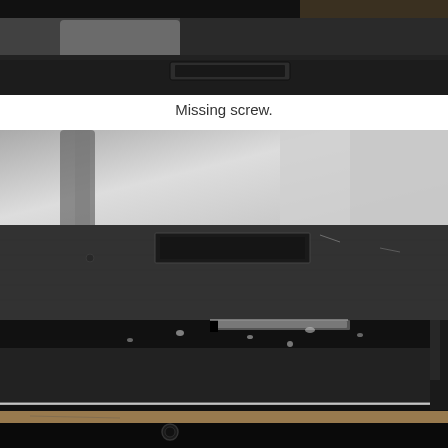[Figure (photo): Close-up photograph of a laptop or electronic device edge/hinge area showing a black plastic surface with a rectangular indentation where a screw is missing, top portion of the image.]
Missing screw.
[Figure (photo): Close-up photograph showing a black textured laptop or device casing edge with a missing screw hole area, moisture droplets visible on the surface, and the device partially open revealing internal components and frame. The area where the screw should be is empty.]